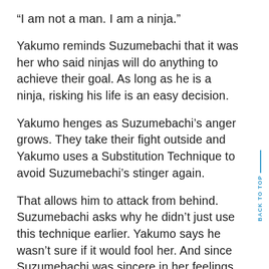“I am not a man. I am a ninja.”
Yakumo reminds Suzumebachi that it was her who said ninjas will do anything to achieve their goal. As long as he is a ninja, risking his life is an easy decision.
Yakumo henges as Suzumebachi’s anger grows. They take their fight outside and Yakumo uses a Substitution Technique to avoid Suzumebachi’s stinger again.
That allows him to attack from behind. Suzumebachi asks why he didn’t just use this technique earlier. Yakumo says he wasn’t sure if it would fool her. And since Suzumebachi was sincere in her feelings for him, he knew he had to risk his life.